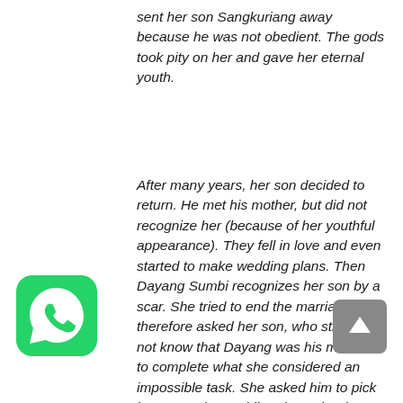sent her son Sangkuriang away because he was not obedient. The gods took pity on her and gave her eternal youth.
After many years, her son decided to return. He met his mother, but did not recognize her (because of her youthful appearance). They fell in love and even started to make wedding plans. Then Dayang Sumbi recognizes her son by a scar. She tried to end the marriage and therefore asked her son, who still didn't not know that Dayang was his mother, to complete what she considered an impossible task. She asked him to pick her up on the wedding day at her house, in a boat.
Since her house is on a hill, Sangkuriang...
[Figure (logo): WhatsApp green logo icon]